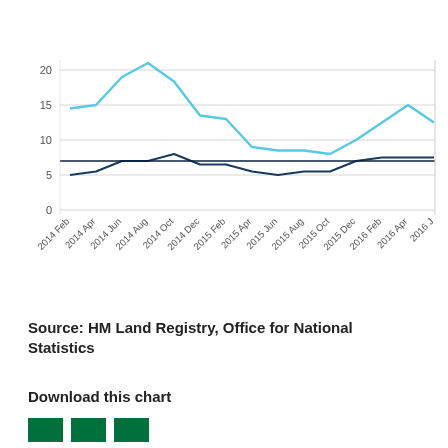[Figure (line-chart): ]
Source: HM Land Registry, Office for National Statistics
Download this chart